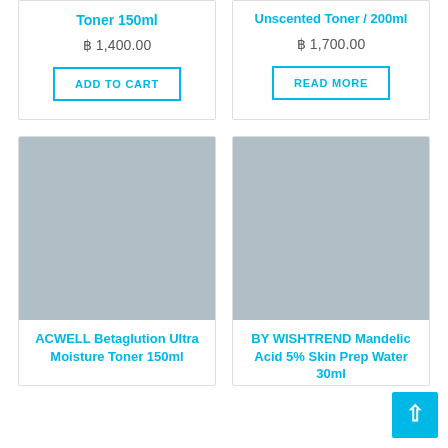Toner 150ml
฿ 1,400.00
ADD TO CART
Unscented Toner / 200ml
฿ 1,700.00
READ MORE
[Figure (photo): Product image placeholder for ACWELL Betaglution Ultra Moisture Toner 150ml]
ACWELL Betaglution Ultra Moisture Toner 150ml
[Figure (photo): Product image placeholder for BY WISHTREND Mandelic Acid 5% Skin Prep Water 30ml]
BY WISHTREND Mandelic Acid 5% Skin Prep Water 30ml